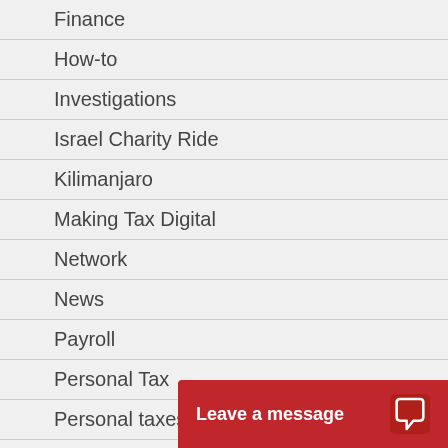Finance
How-to
Investigations
Israel Charity Ride
Kilimanjaro
Making Tax Digital
Network
News
Payroll
Personal Tax
Personal taxes and finances
Press
Property
Property